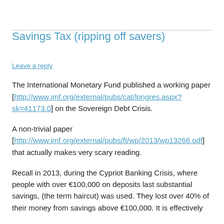Savings Tax (ripping off savers)
Leave a reply
The International Monetary Fund published a working paper [http://www.imf.org/external/pubs/cat/longres.aspx?sk=41173.0] on the Sovereign Debt Crisis.
A non-trivial paper [http://www.imf.org/external/pubs/ft/wp/2013/wp13266.pdf] that actually makes very scary reading.
Recall in 2013, during the Cypriot Banking Crisis, where people with over €100,000 on deposits last substantial savings, (the term haircut) was used. They lost over 40% of their money from savings above €100,000. It is effectively